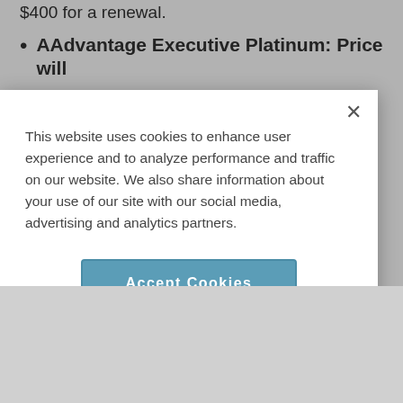$400 for a renewal.
AAdvantage Executive Platinum: Price will
This website uses cookies to enhance user experience and to analyze performance and traffic on our website. We also share information about your use of our site with our social media, advertising and analytics partners.
Accept Cookies
Cookie Preferences